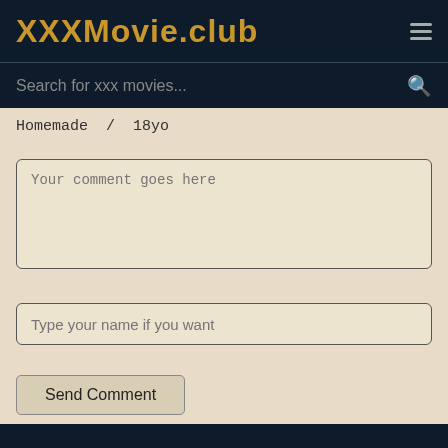XXXMovie.club
Search for xxx movies...
Homemade / 18yo
Your comment goes here
Type your name if you want
Send Comment